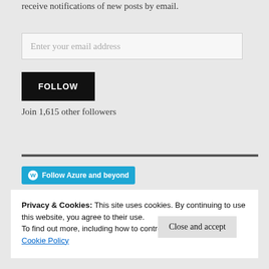receive notifications of new posts by email.
Enter your email address
FOLLOW
Join 1,615 other followers
[Figure (other): WordPress Follow Azure and beyond button]
Privacy & Cookies: This site uses cookies. By continuing to use this website, you agree to their use.
To find out more, including how to control cookies, see here:
Cookie Policy
Close and accept